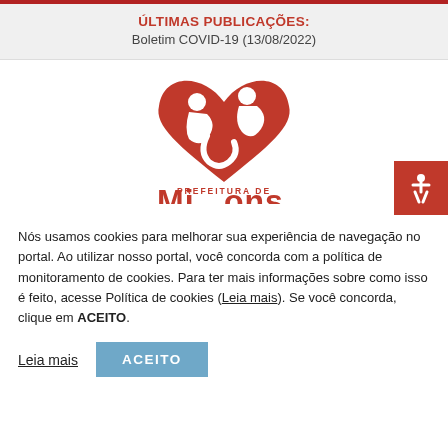ÚLTIMAS PUBLICAÇÕES:
Boletim COVID-19 (13/08/2022)
[Figure (logo): Red heart-shaped logo with stylized figures and text PREFEITURA DE (municipality name partially visible), government logo of a Brazilian city.]
Nós usamos cookies para melhorar sua experiência de navegação no portal. Ao utilizar nosso portal, você concorda com a política de monitoramento de cookies. Para ter mais informações sobre como isso é feito, acesse Política de cookies (Leia mais). Se você concorda, clique em ACEITO.
Leia mais  ACEITO